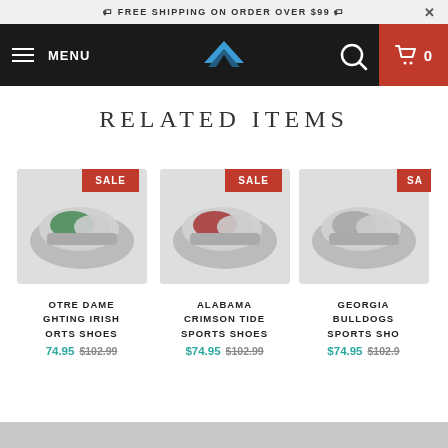🏷 FREE SHIPPING ON ORDER OVER $99 🏷
[Figure (screenshot): E-commerce website navigation bar with hamburger menu, MENU text, brand logo (stylized wing/chevron), search icon, and cart with 0 items on dark background]
RELATED ITEMS
[Figure (photo): Notre Dame Fighting Irish Sports Shoes product image with SALE badge]
OTRE DAME GHTING IRISH ORTS SHOES
$74.95 $102.99
[Figure (photo): Alabama Crimson Tide Sports Shoes product image with SALE badge]
ALABAMA CRIMSON TIDE SPORTS SHOES
$74.95 $102.99
[Figure (photo): Georgia Bulldogs Sports Shoes product image with SALE badge (partially visible)]
GEORGIA BULLDOGS SPORTS SHO
$74.95 $102.9